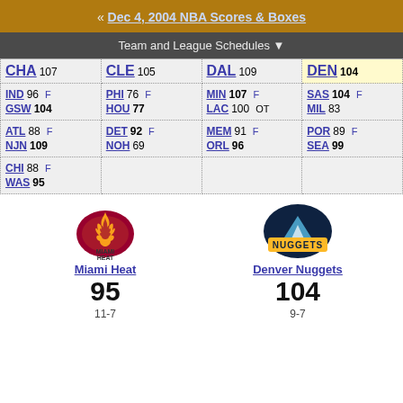« Dec 4, 2004 NBA Scores & Boxes
Team and League Schedules ▼
| CHA 107 | CLE 105 | DAL 109 | DEN 104 |
| IND 96 F / GSW 104 | PHI 76 F / HOU 77 | MIN 107 F / LAC 100 OT | SAS 104 F / MIL 83 |
| ATL 88 F / NJN 109 | DET 92 F / NOH 69 | MEM 91 F / ORL 96 | POR 89 F / SEA 99 |
| CHI 88 F / WAS 95 |  |  |  |
[Figure (logo): Miami Heat logo]
Miami Heat
95
11-7
[Figure (logo): Denver Nuggets logo]
Denver Nuggets
104
9-7